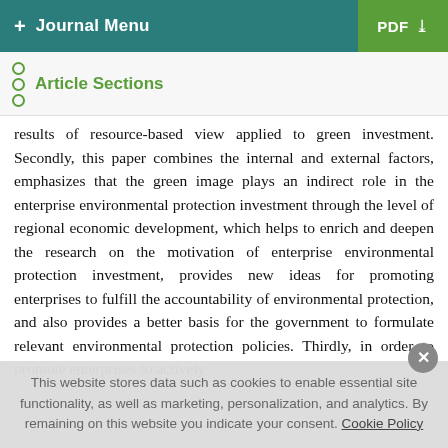+ Journal Menu | PDF ↓
Article Sections
results of resource-based view applied to green investment. Secondly, this paper combines the internal and external factors, emphasizes that the green image plays an indirect role in the enterprise environmental protection investment through the level of regional economic development, which helps to enrich and deepen the research on the motivation of enterprise environmental protection investment, provides new ideas for promoting enterprises to fulfill the accountability of environmental protection, and also provides a better basis for the government to formulate relevant environmental protection policies. Thirdly, in order to promote enterprises to actively
This website stores data such as cookies to enable essential site functionality, as well as marketing, personalization, and analytics. By remaining on this website you indicate your consent. Cookie Policy